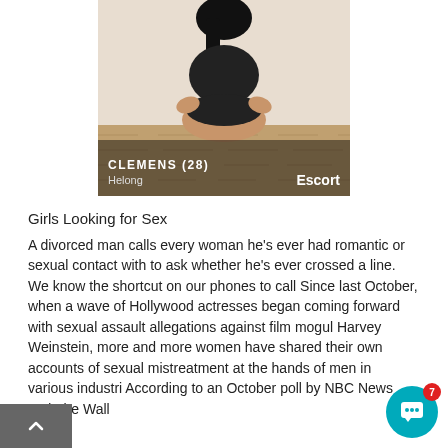[Figure (photo): Photo of a person wearing black clothing, sitting on a wooden floor. Overlay text shows 'CLEMENS (28)', 'Helong', and 'Escort'.]
Girls Looking for Sex
A divorced man calls every woman he's ever had romantic or sexual contact with to ask whether he's ever crossed a line. We know the shortcut on our phones to call Since last October, when a wave of Hollywood actresses began coming forward with sexual assault allegations against film mogul Harvey Weinstein, more and more women have shared their own accounts of sexual mistreatment at the hands of men in various industri... According to an October poll by NBC News and The Wall